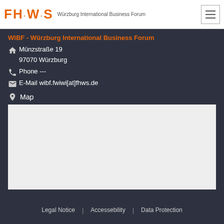FH·W·S  Würzburg International Business Forum
WIBF - Würzburg International Business Forum
Münzstraße 19
97070 Würzburg
Phone ---
E-Mail wibf.fwiwi[at]fhws.de
Map
[Figure (map): Placeholder map area (light gray rectangle)]
Legal Notice | Accessebility | Data Protection